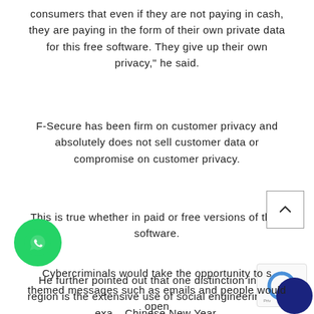consumers that even if they are not paying in cash, they are paying in the form of their own private data for this free software. They give up their own privacy," he said.
F-Secure has been firm on customer privacy and absolutely does not sell customer data or compromise on customer privacy.
This is true whether in paid or free versions of their software.
He further pointed out that one distinction in the region is the extensive use of social engineering, for exa... Chinese New Year.
Cybercriminals would take the opportunity to s... themed messages such as emails and people would open